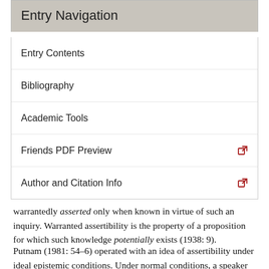Entry Navigation
Entry Contents
Bibliography
Academic Tools
Friends PDF Preview
Author and Citation Info
warrantedly asserted only when known in virtue of such an inquiry. Warranted assertibility is the property of a proposition for which such knowledge potentially exists (1938: 9).
Putnam (1981: 54–6) operated with an idea of assertibility under ideal epistemic conditions. Under normal conditions, a speaker can be justified in making an assertion even though what she asserts is false. The evidence is enough for truth under normal circumstances, but because of abnormal interference the evidence falls